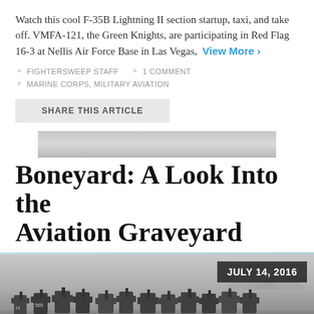Watch this cool F-35B Lightning II section startup, taxi, and take off. VMFA-121, the Green Knights, are participating in Red Flag 16-3 at Nellis Air Force Base in Las Vegas, View More ›
FIGHTERSWEEP STAFF   1 COMMENT
MARINE CORPS, MILITARY AVIATION
SHARE THIS ARTICLE
[Figure (photo): Thumbnail strip showing aerial/aircraft image, appears as partial preview image]
Boneyard: A Look Into the Aviation Graveyard
[Figure (photo): Black and white photograph of rows of aircraft in a military boneyard/aircraft graveyard, with date badge reading JULY 14, 2016]